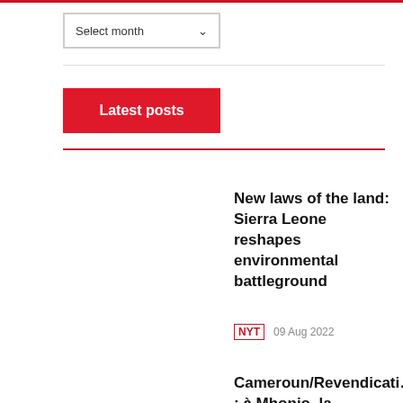Select month
Latest posts
New laws of the land: Sierra Leone reshapes environmental battleground
NYT   09 Aug 2022
Cameroun/Revendicati… : à Mhonio, la populati…